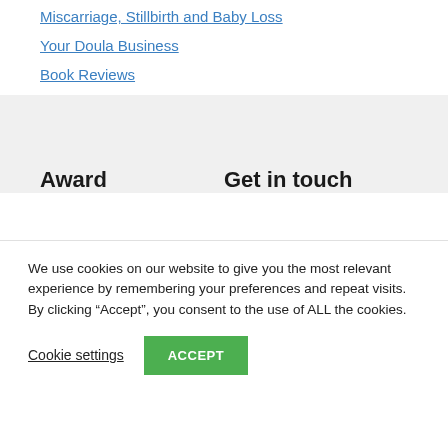Miscarriage, Stillbirth and Baby Loss
Your Doula Business
Book Reviews
Award
Get in touch
We use cookies on our website to give you the most relevant experience by remembering your preferences and repeat visits. By clicking “Accept”, you consent to the use of ALL the cookies.
Cookie settings
ACCEPT